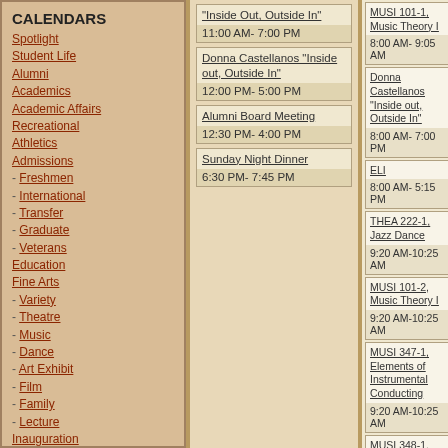CALENDARS
Spotlight
Student Life
Alumni
Academics
Academic Affairs
Recreational
Athletics
Admissions
- Freshmen
- International
- Transfer
- Graduate
- Veterans
Education
Fine Arts
- Variety
- Theatre
- Music
- Dance
- Art Exhibit
- Film
- Family
- Lecture
Inauguration
Parents
All events
ABOUT THE CALENDAR
Submit or Edit an Event
"Inside Out, Outside In"
11:00 AM- 7:00 PM
Donna Castellanos "Inside out, Outside In"
12:00 PM- 5:00 PM
Alumni Board Meeting
12:30 PM- 4:00 PM
Sunday Night Dinner
6:30 PM- 7:45 PM
MUSI 101-1, Music Theory I
8:00 AM- 9:05 AM
Donna Castellanos "Inside out, Outside In"
8:00 AM- 7:00 PM
ELI
8:00 AM- 5:15 PM
THEA 222-1, Jazz Dance
9:20 AM-10:25 AM
MUSI 101-2, Music Theory I
9:20 AM-10:25 AM
MUSI 347-1, Elements of Instrumental Conducting
9:20 AM-10:25 AM
MUSI 348-1, Elements of Choral Conducting
9:20 AM-10:25 AM
Donna Castellanos "Inside out, Outside In"